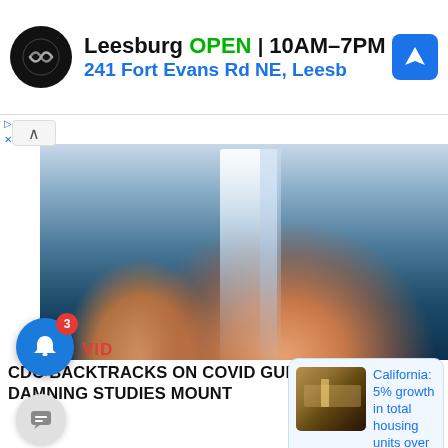[Figure (screenshot): Advertisement banner: Logo of a store (double arrow icon in black circle), text 'Leesburg OPEN 10AM-7PM' and address '241 Fort Evans Rd NE, Leesb' with a blue navigation icon on the right]
Leesburg OPEN 10AM–7PM
241 Fort Evans Rd NE, Leesb
[Figure (photo): Close-up photo of hands holding a clear glass vial or test tube against a blue background with a white logo/watermark]
VID
CDC BACKTRACKS ON COVID GUIDANCE AS DAMNING STUDIES MOUNT
[Figure (photo): Notification popup showing a thumbnail of a construction/housing site and text: California: 5% growth in total housing units over, 28 minutes ago]
California: 5% growth in total housing units over
28 minutes ago
[Figure (photo): Bottom portion of a news page showing a crowded indoor event photo (partially visible)]